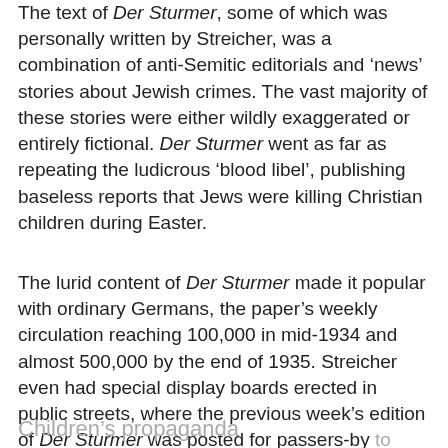The text of Der Sturmer, some of which was personally written by Streicher, was a combination of anti-Semitic editorials and 'news' stories about Jewish crimes. The vast majority of these stories were either wildly exaggerated or entirely fictional. Der Sturmer went as far as repeating the ludicrous 'blood libel', publishing baseless reports that Jews were killing Christian children during Easter.
The lurid content of Der Sturmer made it popular with ordinary Germans, the paper's weekly circulation reaching 100,000 in mid-1934 and almost 500,000 by the end of 1935. Streicher even had special display boards erected in public streets, where the previous week's edition of Der Sturmer was posted for passers-by to read.
Children's propaganda